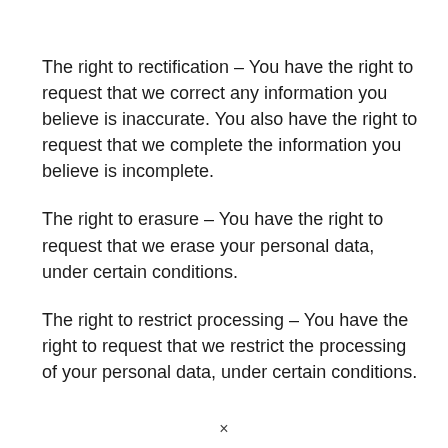The right to rectification – You have the right to request that we correct any information you believe is inaccurate. You also have the right to request that we complete the information you believe is incomplete.
The right to erasure – You have the right to request that we erase your personal data, under certain conditions.
The right to restrict processing – You have the right to request that we restrict the processing of your personal data, under certain conditions.
×